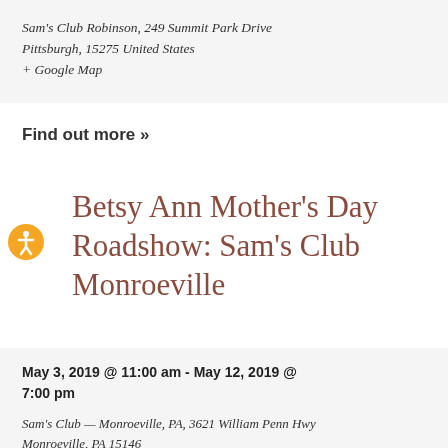Sam's Club Robinson, 249 Summit Park Drive
Pittsburgh, 15275 United States
+ Google Map
Find out more »
Betsy Ann Mother's Day Roadshow: Sam's Club Monroeville
May 3, 2019 @ 11:00 am - May 12, 2019 @ 7:00 pm
Sam's Club — Monroeville, PA, 3621 William Penn Hwy
Monroeville, PA 15146
+ Google Map